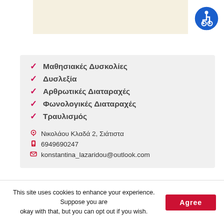[Figure (logo): Beige banner strip in top area]
[Figure (illustration): Blue circle with white wheelchair accessibility icon, top right corner]
✓ Μαθησιακές Δυσκολίες
✓ Δυσλεξία
✓ Αρθρωτικές Διαταραχές
✓ Φωνολογικές Διαταραχές
✓ Τραυλισμός
Νικολάου Κλαδά 2, Σιάτιστα
6949690247
konstantina_lazaridou@outlook.com
[Figure (logo): Red rounded button with white italic text 'έλεγχος FIX']
This site uses cookies to enhance your experience. Suppose you are okay with that, but you can opt out if you wish.